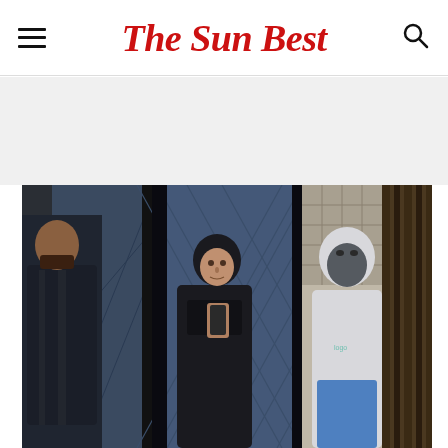The Sun Best
[Figure (photo): A triptych of three security camera (CCTV) footage stills side by side. Left panel: a man in a dark puffer jacket with a beard, partially cropped. Center panel: a person in a black hooded jacket standing in front of blue diamond-pattern glass doors, looking sideways at a phone. Right panel: a person in a white hoodie with the hood pulled up and a dark face mask obscuring their face, wearing blue pants.]